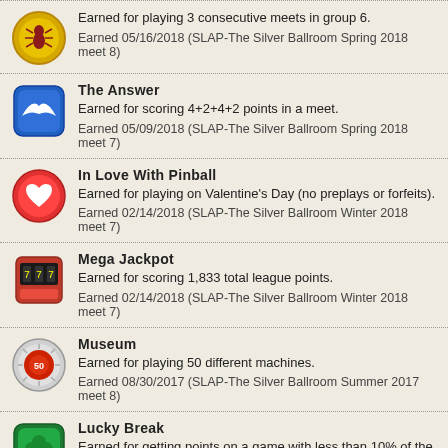Earned for playing 3 consecutive meets in group 6.
Earned 05/16/2018 (SLAP-The Silver Ballroom Spring 2018 meet 8)
The Answer
Earned for scoring 4+2+4+2 points in a meet.
Earned 05/09/2018 (SLAP-The Silver Ballroom Spring 2018 meet 7)
In Love With Pinball
Earned for playing on Valentine's Day (no preplays or forfeits).
Earned 02/14/2018 (SLAP-The Silver Ballroom Winter 2018 meet 7)
Mega Jackpot
Earned for scoring 1,833 total league points.
Earned 02/14/2018 (SLAP-The Silver Ballroom Winter 2018 meet 7)
Museum
Earned for playing 50 different machines.
Earned 08/30/2017 (SLAP-The Silver Ballroom Summer 2017 meet 8)
Lucky Break
Earned for getting points on a game with less than 10% of the league average score.
Earned 08/02/2017 (SLAP-The Silver Ballroom Summer 2017 meet 4)